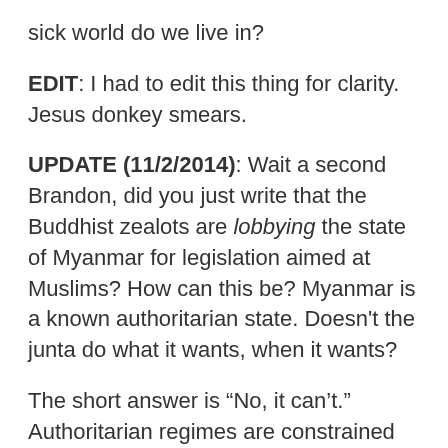sick world do we live in?
EDIT: I had to edit this thing for clarity. Jesus donkey smears.
UPDATE (11/2/2014): Wait a second Brandon, did you just write that the Buddhist zealots are lobbying the state of Myanmar for legislation aimed at Muslims? How can this be? Myanmar is a known authoritarian state. Doesn't the junta do what it wants, when it wants?
The short answer is “No, it can’t.” Authoritarian regimes are constrained by choices and popular opinion as well. One of the main differences between